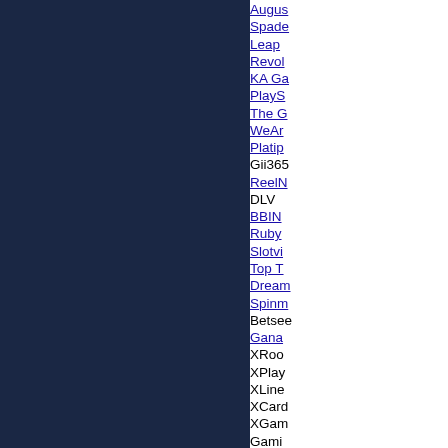Augus...
Spade...
Leap...
Revol...
KA Ga...
PlayS...
The G...
WeAr...
Platip...
Gii365...
ReelN...
DLV
BBIN
Ruby...
Slotvi...
Top T...
Dream...
Spinm...
Betsee...
Gana...
XRoo...
XPlay...
XLine...
XCard...
XGam...
Gami...
InBet...
Magm...
VRCa...
Aspec...
Tomb...
Gams...
Slot F...